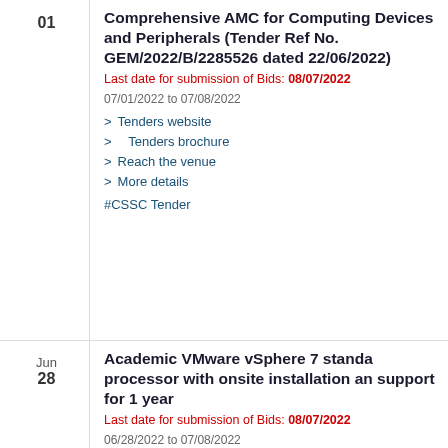01 | Comprehensive AMC for Computing Devices and Peripherals (Tender Ref No. GEM/2022/B/2285526 dated 22/06/2022)
Last date for submission of Bids: 08/07/2022
07/01/2022 to 07/08/2022
> Tenders website
> Tenders brochure
> Reach the venue
> More details
#CSSC Tender
Jun 28 | Academic VMware vSphere 7 standard processor with onsite installation and support for 1 year
Last date for submission of Bids: 08/07/2022
06/28/2022 to 07/08/2022
> Tenders website